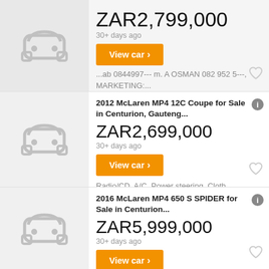[Figure (illustration): Car placeholder icon on grey background]
ZAR2,799,000
30+ days ago
View car
...ab 0844997--- m. A OSMAN 082 952 5---, MARKETING:...
[Figure (illustration): Car placeholder icon on grey background]
2012 McLaren MP4 12C Coupe for Sale in Centurion, Gauteng...
ZAR2,699,000
30+ days ago
View car
Radio/CD, A/C, Power steering, Cloth Upholstery, Park...
[Figure (illustration): Car placeholder icon on grey background]
2016 McLaren MP4 650 S SPIDER for Sale in Centurion...
ZAR5,999,000
30+ days ago
View car